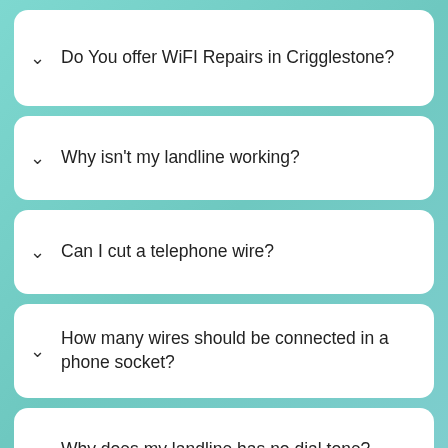Do You offer WiFI Repairs in Crigglestone?
Why isn't my landline working?
Can I cut a telephone wire?
How many wires should be connected in a phone socket?
Why does my landline has no dial tone?
Who is responsible for trimming trees near phone lines Crigglestone?